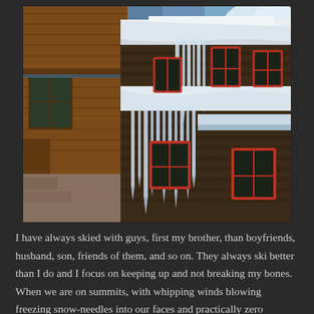[Figure (photo): A winter scene showing wooden cabins/lodges covered in snow with icicles hanging from the roofs. The buildings have red-framed windows and are surrounded by snow-covered trees. One building on the left has warm cedar/pine wood siding, while the main building has darker weathered wood shingle siding. Large icicles hang dramatically from the roofline of the main structure.]
I have always skied with guys, first my brother, than boyfriends, husband, son, friends of them, and so on. They always ski better than I do and I focus on keeping up and not breaking my bones. When we are on summits, with whipping winds blowing freezing snow-needles into our faces and practically zero visibility, they get strangely hyped up.